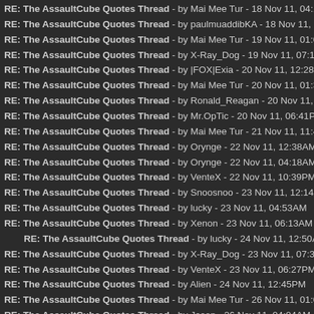RE: The AssaultCube Quotes Thread - by Mai Mee Tur - 18 Nov 11, 04:19AM
RE: The AssaultCube Quotes Thread - by paulmuaddibKA - 18 Nov 11, 07:56PM
RE: The AssaultCube Quotes Thread - by Mai Mee Tur - 19 Nov 11, 01:06AM
RE: The AssaultCube Quotes Thread - by X-Ray_Dog - 19 Nov 11, 07:17AM
RE: The AssaultCube Quotes Thread - by |FOX|Exia - 20 Nov 11, 12:28AM
RE: The AssaultCube Quotes Thread - by Mai Mee Tur - 20 Nov 11, 01:33AM
RE: The AssaultCube Quotes Thread - by Ronald_Reagan - 20 Nov 11, 07:29AM
RE: The AssaultCube Quotes Thread - by Mr.OpTic - 20 Nov 11, 06:41PM
RE: The AssaultCube Quotes Thread - by Mai Mee Tur - 21 Nov 11, 11:44PM
RE: The AssaultCube Quotes Thread - by Orynge - 22 Nov 11, 12:38AM
RE: The AssaultCube Quotes Thread - by Orynge - 22 Nov 11, 04:18AM
RE: The AssaultCube Quotes Thread - by VenteX - 22 Nov 11, 10:39PM
RE: The AssaultCube Quotes Thread - by Snoosnoo - 23 Nov 11, 12:14AM
RE: The AssaultCube Quotes Thread - by lucky - 23 Nov 11, 04:53AM
RE: The AssaultCube Quotes Thread - by Xenon - 23 Nov 11, 06:13AM
RE: The AssaultCube Quotes Thread - by lucky - 24 Nov 11, 12:50AM (indented)
RE: The AssaultCube Quotes Thread - by X-Ray_Dog - 23 Nov 11, 07:33AM
RE: The AssaultCube Quotes Thread - by VenteX - 23 Nov 11, 06:27PM
RE: The AssaultCube Quotes Thread - by Alien - 24 Nov 11, 12:45PM
RE: The AssaultCube Quotes Thread - by Mai Mee Tur - 26 Nov 11, 01:02AM
RE: The AssaultCube Quotes Thread - by Jason - 26 Nov 11, 04:04AM
RE: The AssaultCube Quotes Thread - by Kakarrot - 27 Nov 11, 01:03AM
RE: The AssaultCube Quotes Thread - by jamz - 27 Nov 11, 08:45AM
RE: The AssaultCube Quotes Thread - by Nightmare - 27 Nov 11, 02:30PM (indented)
RE: The AssaultCube Quotes Thread - by titiPT - 27 Nov 11, 06:25PM